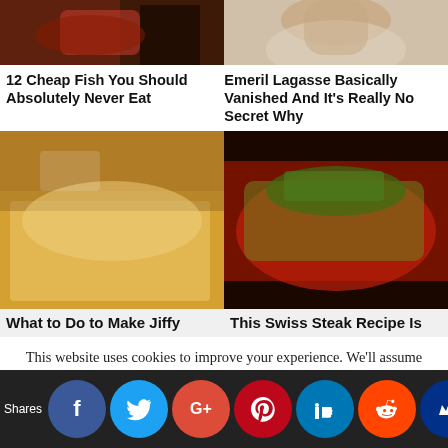[Figure (photo): Top left: close-up of red/dark colored cheap fish or seafood]
[Figure (photo): Top right: portrait photo of Emeril Lagasse]
12 Cheap Fish You Should Absolutely Never Eat
Emeril Lagasse Basically Vanished And It's Really No Secret Why
[Figure (photo): Middle left: close-up of a piece of golden Jiffy cornbread with glaze dripping]
[Figure (photo): Middle right: close-up of Swiss steak with herbs and tomato sauce on plate]
What to Do to Make Jiffy
This Swiss Steak Recipe Is
This website uses cookies to improve your experience. We'll assume you're ok with this, but you can opt-out if you wish.
Shares